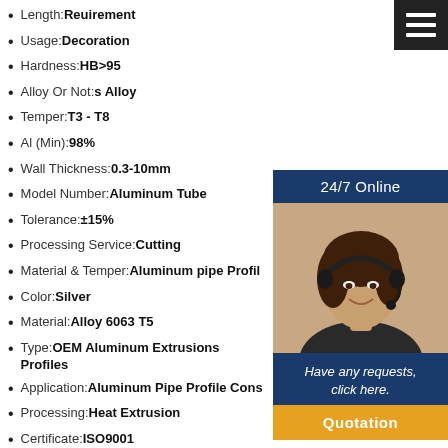Length:Requirement
Usage:Decoration
Hardness:HB>95
Alloy Or Not:s Alloy
Temper:T3 - T8
Al (Min):98%
Wall Thickness:0.3-10mm
Model Number:Aluminum Tube
Tolerance:±15%
Processing Service:Cutting
Material & Temper:Aluminum pipe Profil
Color:Silver
Material:Alloy 6063 T5
Type:OEM Aluminum Extrusions Profiles
Application:Aluminum Pipe Profile Cons
Processing:Heat Extrusion
Certificate:ISO9001
Surface:Mill Finish
Product name:Prime Quality 6063 Aluminum Square Tube Sizes Germany
[Figure (photo): Customer service agent (woman with headset) with 24/7 Online support panel, request text, and Quotation button]